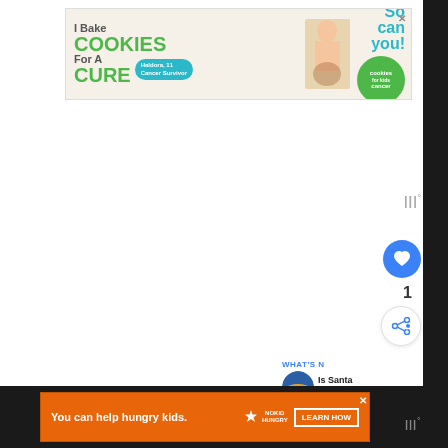[Figure (other): Advertisement banner: 'I Bake COOKIES For A CURE' with child photo and 'So can you!' text and Cookies for Kids Cancer logo. Haldora, 11 Cancer Survivor badge shown.]
1
[Figure (other): Heart/like button (blue circle with heart icon) with like count of 1 below it, and a share button (circle with share icon) below that.]
WHAT'S N... Is Santa Monica...
[Figure (other): Bottom advertisement banner on dark background: 'You can help hungry kids.' with No Kid Hungry logo and 'LEARN HOW' button. Orange background banner.]